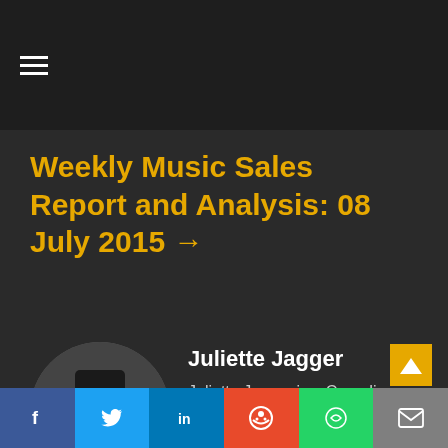≡
Weekly Music Sales Report and Analysis: 08 July 2015 →
[Figure (photo): Black and white circular portrait photo of Juliette Jagger wearing a wide-brimmed hat]
Juliette Jagger
Juliette Jagger is a Canadian music journalist. She is on Twitter @juliettejagger.
f  🐦  in  reddit  WhatsApp  ✉